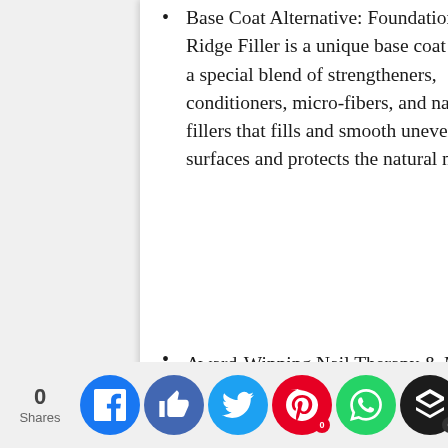Base Coat Alternative: Foundation 2 Ridge Filler is a unique base coat with a special blend of strengtheners, conditioners, micro-fibers, and natural fillers that fills and smooth uneven nail surfaces and protects the natural nail.
Award-Winning Nail Therapy & Made in the USA: Nail Tek has been voted as “Best Natural Nail Treatment” by salon professionals worldwide –
[Figure (other): Social sharing bar at the bottom of the page showing: 0 Shares, Facebook button, Like button, Twitter button, Pinterest button (with 0 badge), WhatsApp button, Buffer button (with 0 badge), Crown/unknown button]